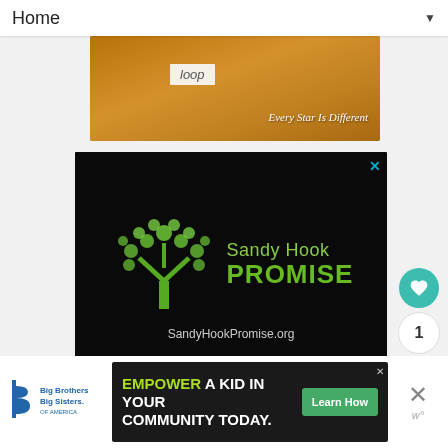Home ▼
[Figure (photo): Wooden background with 'loop' label and text 'Every Star Is Different']
[Figure (logo): Sandy Hook Promise advertisement on black background with tree logo made of hands and SandyHookPromise.org URL]
[Figure (logo): Big Brothers Big Sisters of America logo]
[Figure (other): EMPOWER A KID IN YOUR COMMUNITY TODAY. Learn How - advertisement banner]